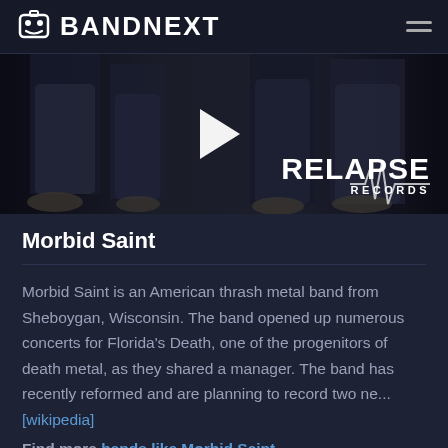BANDNEXT
[Figure (screenshot): Video thumbnail showing band members' legs and feet in dark setting, with a white play button triangle and RELAPSE RECORDS logo overlay]
Morbid Saint
Morbid Saint is an American thrash metal band from Sheboygan, Wisconsin. The band opened up numerous concerts for Florida's Death, one of the progenitors of death metal, as they shared a manager. The band has recently reformed and are planning to record two ne... [wikipedia]
Find more bands like Morbid Saint